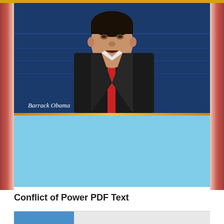[Figure (photo): Book cover showing Barack Obama speaking, wearing a dark suit and red tie, against a blue background. A gold horizontal divider separates the photo from a light blue lower section. Text 'Barrack Obama' appears in white on the photo.]
Conflict of Power PDF Text
[Figure (screenshot): Partial view of a webpage or document preview showing a light gray background with a blue rectangle element visible at the bottom of the page.]